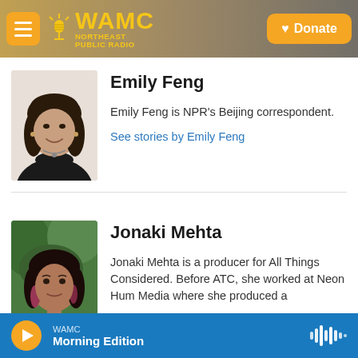WAMC Northeast Public Radio | Donate
[Figure (photo): Headshot of Emily Feng, a woman with dark shoulder-length hair, wearing a black turtleneck, smiling]
Emily Feng
Emily Feng is NPR's Beijing correspondent.
See stories by Emily Feng
[Figure (photo): Headshot of Jonaki Mehta, a woman with dark hair and pink highlights, wearing a salmon/pink top, with green foliage in background]
Jonaki Mehta
Jonaki Mehta is a producer for All Things Considered. Before ATC, she worked at Neon Hum Media where she produced a
WAMC Morning Edition